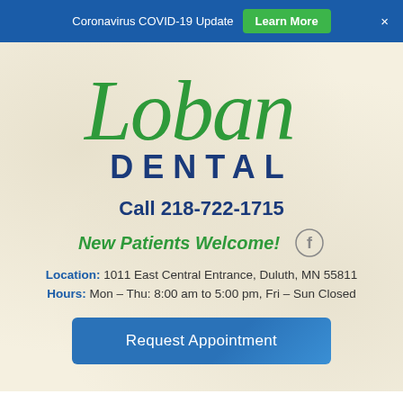Coronavirus COVID-19 Update  Learn More  ×
[Figure (logo): Loban Dental logo with green cursive 'Loban' script above bold dark blue 'DENTAL' text]
Call 218-722-1715
New Patients Welcome!
Location: 1011 East Central Entrance, Duluth, MN 55811
Hours: Mon – Thu: 8:00 am to 5:00 pm, Fri – Sun Closed
Request Appointment